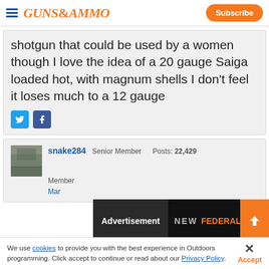GUNS&AMMO | Subscribe
shotgun that could be used by a women though I love the idea of a 20 gauge Saiga loaded hot, with magnum shells I don't feel it loses much to a 12 gauge
[Figure (screenshot): Twitter and Facebook social share icons]
[Figure (photo): User avatar thumbnail for snake284]
snake284  Senior Member  Posts: 22,429
Member
Mar...
[Figure (screenshot): Advertisement overlay: NEW FEDERAL BUY NOW with close button]
We use cookies to provide you with the best experience in Outdoors programming. Click accept to continue or read about our Privacy Policy.